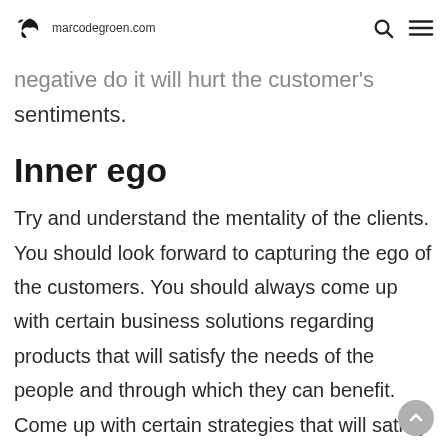marcodegroen.com
negative do it will hurt the customer's sentiments.
Inner ego
Try and understand the mentality of the clients. You should look forward to capturing the ego of the customers. You should always come up with certain business solutions regarding products that will satisfy the needs of the people and through which they can benefit. Come up with certain strategies that will satisfy the prevailing needs of the people